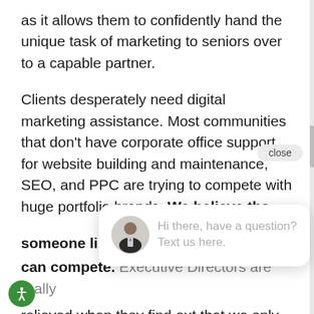as it allows them to confidently hand the unique task of marketing to seniors over to a capable partner.
Clients desperately need digital marketing assistance. Most communities that don't have corporate office support for website building and maintenance, SEO, and PPC are trying to compete with huge portfolio brands. We believe that someone like can compete. Executive Directors are really relieved when they find out that we only work with Senior Housing communities.
[Figure (screenshot): Chat popup widget with close button, avatar photo of a man in a suit, and text 'Hi there, have a question? Text us here.' overlaying the main text content. An accessibility icon (green circle with person symbol) is visible in the lower left.]